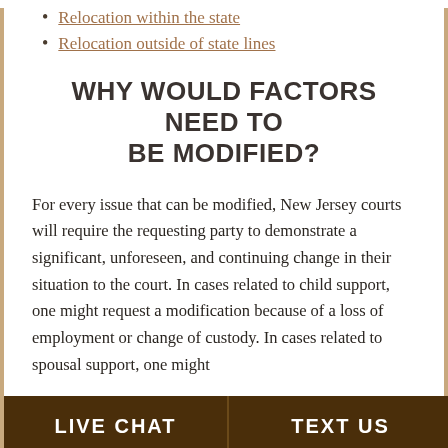Relocation within the state
Relocation outside of state lines
WHY WOULD FACTORS NEED TO BE MODIFIED?
For every issue that can be modified, New Jersey courts will require the requesting party to demonstrate a significant, unforeseen, and continuing change in their situation to the court. In cases related to child support, one might request a modification because of a loss of employment or change of custody. In cases related to spousal support, one might
LIVE CHAT   TEXT US